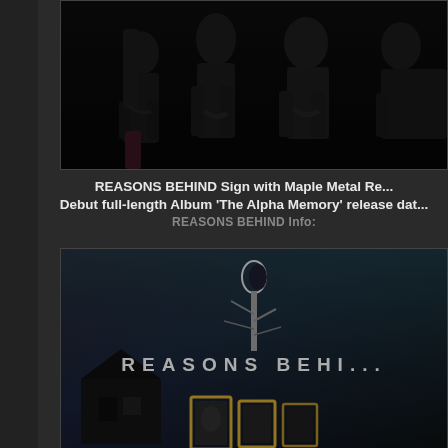[Figure (photo): Band photo of Reasons Behind, four members dressed in black standing together against dark background]
REASONS BEHIND Sign with Maple Metal Re... Debut full-length Album 'The Alpha Memory' release dat...
REASONS BEHIND Info:
[Figure (photo): Album cover art for Reasons Behind 'The Alpha Memory' - dark imagery with band name text, tree silhouette, old house and portrait frames]